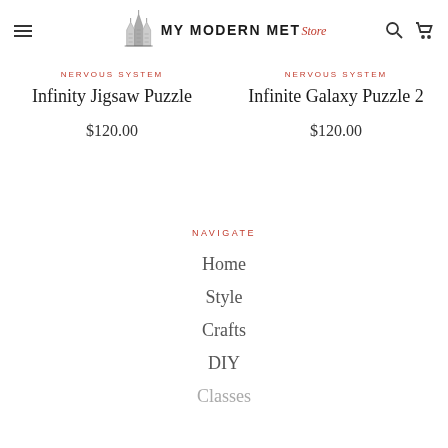MY MODERN MET Store
NERVOUS SYSTEM
Infinity Jigsaw Puzzle
$120.00
NERVOUS SYSTEM
Infinite Galaxy Puzzle 2
$120.00
NAVIGATE
Home
Style
Crafts
DIY
Classes